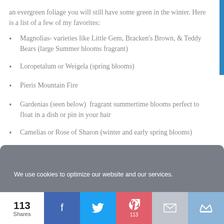an evergreen foliage you will still have some green in the winter. Here is a list of a few of my favorites:
Magnolias- varieties like Little Gem, Bracken's Brown, & Teddy Bears (large Summer blooms fragrant)
Loropetalum or Weigela (spring blooms)
Pieris Mountain Fire
Gardenias (seen below)  fragrant summertime blooms perfect to float in a dish or pin in your hair
Camelias or Rose of Sharon (winter and early spring blooms)
We use cookies to optimize our website and our services.
ACCEPT
113 Shares | Facebook | Twitter | Pinterest 113 | Mail | Crown